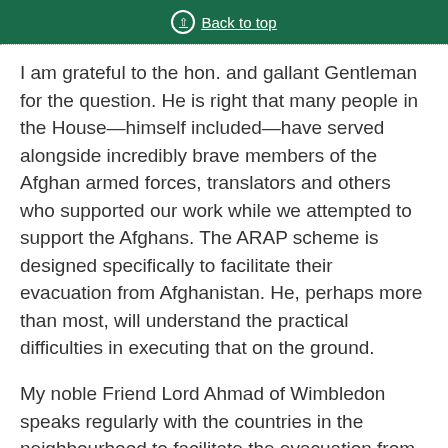Back to top
I am grateful to the hon. and gallant Gentleman for the question. He is right that many people in the House—himself included—have served alongside incredibly brave members of the Afghan armed forces, translators and others who supported our work while we attempted to support the Afghans. The ARAP scheme is designed specifically to facilitate their evacuation from Afghanistan. He, perhaps more than most, will understand the practical difficulties in executing that on the ground.
My noble Friend Lord Ahmad of Wimbledon speaks regularly with the countries in the neighbourhood to facilitate the evacuation from Afghanistan. I assure the hon. and gallant Gentleman that the UK